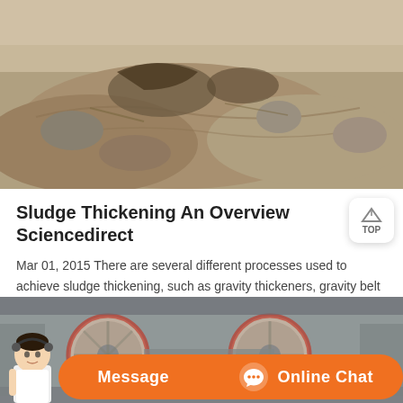[Figure (photo): Aerial or close-up photo of excavated earth/sludge materials, showing rock and soil pile]
Sludge Thickening An Overview Sciencedirect
Mar 01, 2015 There are several different processes used to achieve sludge thickening, such as gravity thickeners, gravity belt thickeners (GBTs), rotary drum thickeners (RDTs), centrifugal thickening, and dissolved air flotation (DAF) thickening. Process configuration, energy consumption, chemical and labor requirements, and the extent of thickening ...
[Figure (photo): Industrial machinery photo showing large mechanical drum/roller equipment in a factory or quarry setting]